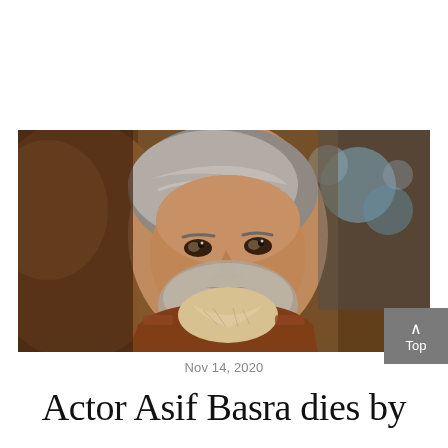[Figure (photo): Middle-aged man with silver/grey hair swept back, wearing a brown leather jacket and a cream/beige patterned scarf, smiling at the camera with a warm expression. Background is blurred with bokeh lighting in warm and cool tones.]
Nov 14, 2020
Actor Asif Basra dies by